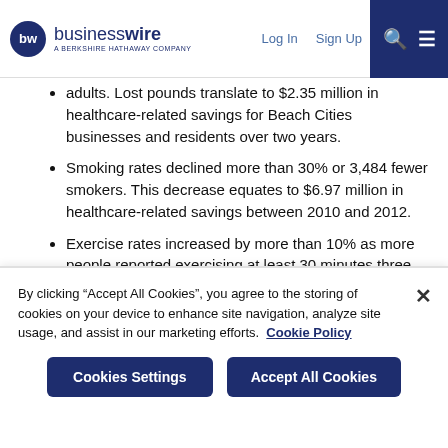businesswire — A BERKSHIRE HATHAWAY COMPANY | Log In | Sign Up
adults. Lost pounds translate to $2.35 million in healthcare-related savings for Beach Cities businesses and residents over two years.
Smoking rates declined more than 30% or 3,484 fewer smokers. This decrease equates to $6.97 million in healthcare-related savings between 2010 and 2012.
Exercise rates increased by more than 10% as more people reported exercising at least 30 minutes three times per week.
Healthy eating habits improved 9%, with more people reporting eating five or more servings of fruits and vegetables four or
By clicking "Accept All Cookies", you agree to the storing of cookies on your device to enhance site navigation, analyze site usage, and assist in our marketing efforts.  Cookie Policy
Cookies Settings | Accept All Cookies